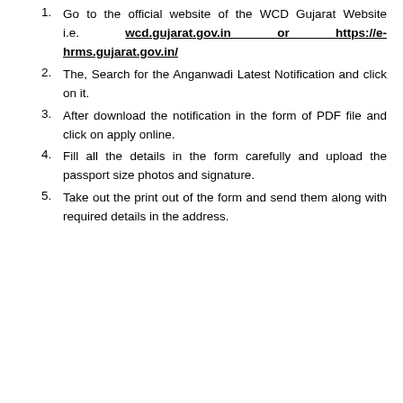Go to the official website of the WCD Gujarat Website i.e. wcd.gujarat.gov.in or https://e-hrms.gujarat.gov.in/
The, Search for the Anganwadi Latest Notification and click on it.
After download the notification in the form of PDF file and click on apply online.
Fill all the details in the form carefully and upload the passport size photos and signature.
Take out the print out of the form and send them along with required details in the address.